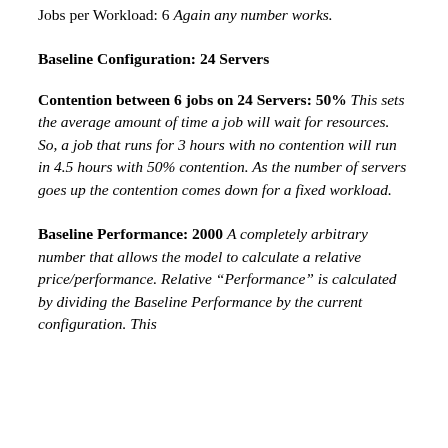Jobs per Workload: 6 Again any number works.
Baseline Configuration: 24 Servers
Contention between 6 jobs on 24 Servers: 50% This sets the average amount of time a job will wait for resources. So, a job that runs for 3 hours with no contention will run in 4.5 hours with 50% contention. As the number of servers goes up the contention comes down for a fixed workload.
Baseline Performance: 2000 A completely arbitrary number that allows the model to calculate a relative price/performance. Relative “Performance” is calculated by dividing the Baseline Performance by the current configuration. This